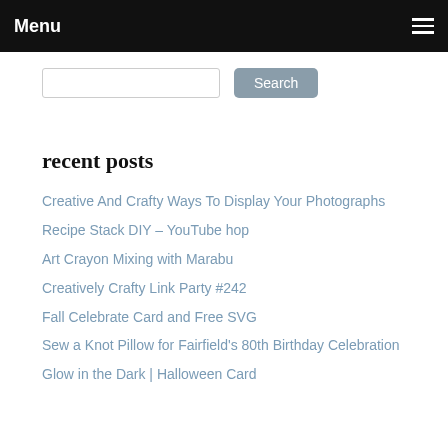Menu
[Figure (other): Search input box and Search button]
recent posts
Creative And Crafty Ways To Display Your Photographs
Recipe Stack DIY – YouTube hop
Art Crayon Mixing with Marabu
Creatively Crafty Link Party #242
Fall Celebrate Card and Free SVG
Sew a Knot Pillow for Fairfield's 80th Birthday Celebration
Glow in the Dark | Halloween Card